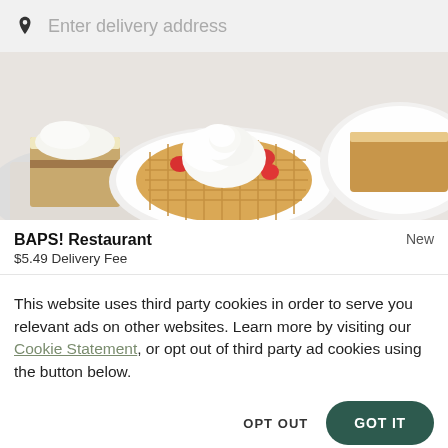Enter delivery address
[Figure (photo): Food photo showing waffles topped with whipped cream and strawberries on a plate, with other dishes visible.]
BAPS! Restaurant
$5.49 Delivery Fee
New
This website uses third party cookies in order to serve you relevant ads on other websites. Learn more by visiting our Cookie Statement, or opt out of third party ad cookies using the button below.
OPT OUT
GOT IT